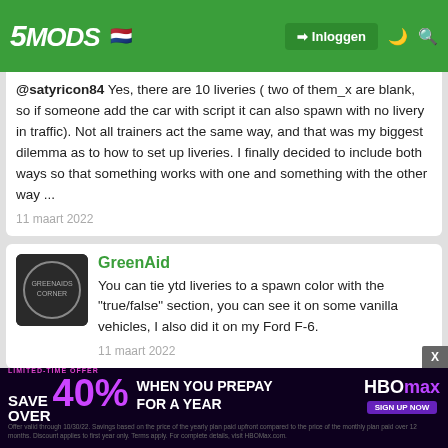5MODS | Inloggen
@satyricon84 Yes, there are 10 liveries ( two of them_x are blank, so if someone add the car with script it can also spawn with no livery in traffic). Not all trainers act the same way, and that was my biggest dilemma as to how to set up liveries. I finally decided to include both ways so that something works with one and something with the other way ...
11 maart 2022
GreenAid
You can tie ytd liveries to a spawn color with the "true/false" section, you can see it on some vanilla vehicles, I also did it on my Ford F-6.
11 maart 2022
NajPotez Ontwikkelaar
@GreenAid If you mean in "carvariations.meta" I did that, and it works fine if you add the car in ... correct ... re this, ... can't
[Figure (screenshot): HBO Max advertisement banner: LIMITED-TIME OFFER SAVE OVER 40% WHEN YOU PREPAY FOR A YEAR with HBO Max sign up now button]